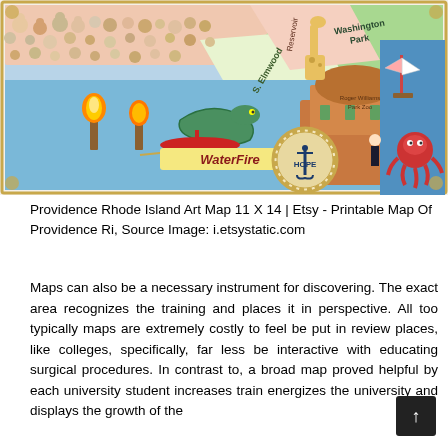[Figure (illustration): Colorful illustrated art map of Providence, Rhode Island featuring landmarks including WaterFire, Washington Park, Roger Williams Park Zoo, a giraffe, sailboat, octopus, animals, fire torches, and a rope-bordered nautical compass emblem with 'HOPE' and an anchor. Various neighborhood labels visible including S. Elmwood.]
Providence Rhode Island Art Map 11 X 14 | Etsy - Printable Map Of Providence Ri, Source Image: i.etsystatic.com
Maps can also be a necessary instrument for discovering. The exact area recognizes the training and places it in perspective. All too typically maps are extremely costly to feel be put in review places, like colleges, specifically, far less be interactive with educating surgical procedures. In contrast to, a broad map proved helpful by each university student increases train energizes the university and displays the growth of the